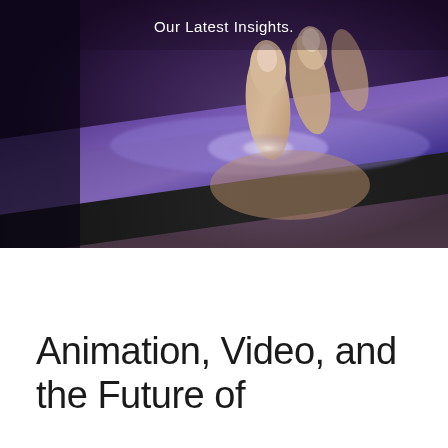[Figure (photo): Close-up photo of fingers touching a glowing tablet screen with purple/blue light, placed on a wooden surface. Dark, moody lighting.]
Our Latest Insights.
Animation, Video, and the Future of